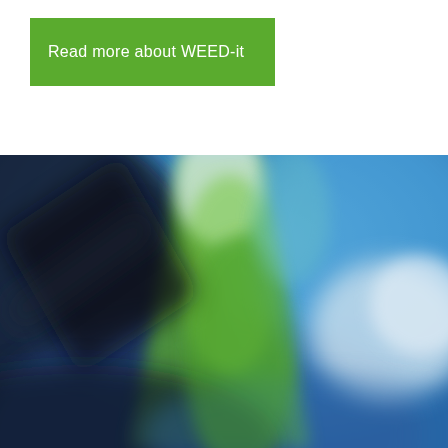Read more about WEED-it
[Figure (photo): Blurred close-up photo of agricultural spraying equipment (WEED-it sprayer nozzle/arm) against a blue sky with clouds. The image shows a green cylindrical component positioned diagonally, with dark and light blurred areas suggesting motion or depth of field. Background is bright blue sky with white clouds on the right side.]